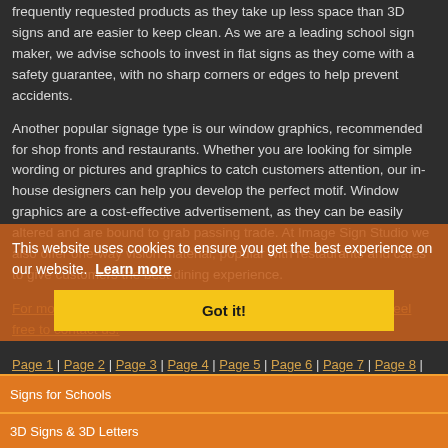frequently requested products as they take up less space than 3D signs and are easier to keep clean. As we are a leading school sign maker, we advise schools to invest in flat signs as they come with a safety guarantee, with no sharp corners or edges to help prevent accidents.
Another popular signage type is our window graphics, recommended for shop fronts and restaurants. Whether you are looking for simple wording or pictures and graphics to catch customers attention, our in-house designers can help you develop the perfect motif. Window graphics are a cost-effective advertisement, as they can be easily altered and are bound to grab passing trade. At Image Sign Studio we also offer one-way vision material, popular with restaurants and cafes to give customers the best dining experience.
For more information and to find a full list of our signage types, feel free to contact us.
Page 1 | Page 2 | Page 3 | Page 4 | Page 5 | Page 6 | Page 7 | Page 8 | Page 9 | Page 10 | Page 11 | Page 12 |
This website uses cookies to ensure you get the best experience on our website. Learn more
Got it!
Signs for Schools
3D Signs & 3D Letters